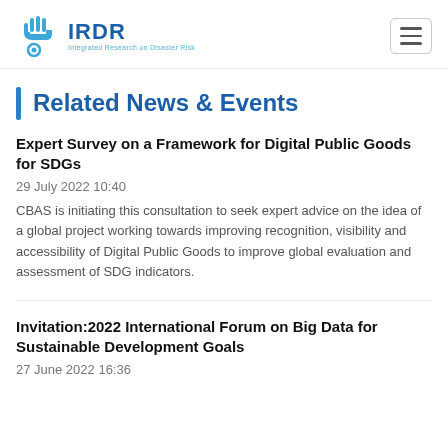IRDR - Integrated Research on Disaster Risk
Related News & Events
Expert Survey on a Framework for Digital Public Goods for SDGs
29 July 2022 10:40
CBAS is initiating this consultation to seek expert advice on the idea of a global project working towards improving recognition, visibility and accessibility of Digital Public Goods to improve global evaluation and assessment of SDG indicators.
Invitation:2022 International Forum on Big Data for Sustainable Development Goals
27 June 2022 16:36